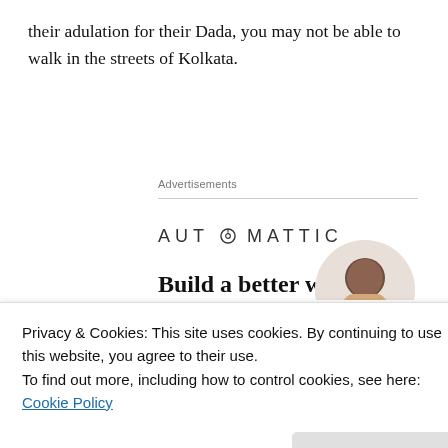their adulation for their Dada, you may not be able to walk in the streets of Kolkata.
Advertisements
[Figure (other): Automattic advertisement banner: logo, tagline 'Build a better web and a better world.' with Apply button and person image]
Privacy & Cookies: This site uses cookies. By continuing to use this website, you agree to their use.
To find out more, including how to control cookies, see here: Cookie Policy
Close and accept
the team down.." or you thought he "...should have come